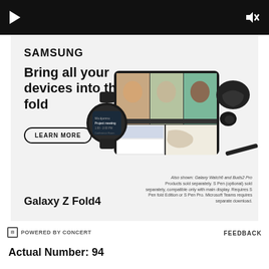[Figure (screenshot): Video player bar with play button on left and mute/close button on right, black background]
[Figure (photo): Samsung Galaxy Z Fold4 advertisement. Shows Samsung logo, tagline 'Bring all your devices into the fold', LEARN MORE button, and product images including Galaxy Z Fold4 phone open showing video call, Galaxy Watch6, Buds2 Pro, and S Pen on light gray background. Also shown: Galaxy Watch6 and Buds2 Pro. Products sold separately. S Pen (optional) sold separately, compatible only with main display. Requires S Pen fold Edition or S Pen Pro. Microsoft Teams requires separate download. Galaxy Z Fold4 label at bottom.]
⊟ POWERED BY CONCERT
FEEDBACK
Actual Number: 94